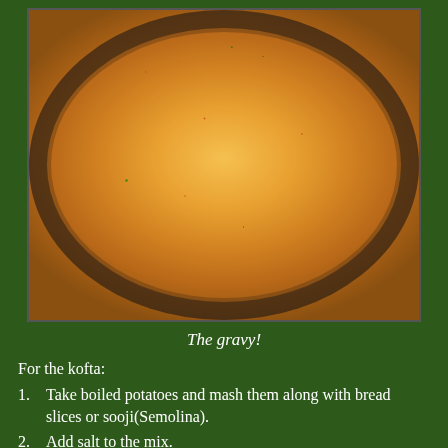[Figure (photo): A glass bowl containing orange/yellow curry gravy with green speckles, placed on a teal/blue woven mat]
The gravy!
For the kofta:
Take boiled potatoes and mash them along with bread slices or sooji(Semolina).
Add salt to the mix.
Crumble paneer with hands. Add salt, diced coriander and garam masala.
You can also add diced green chillies and finely diced onions if you like.